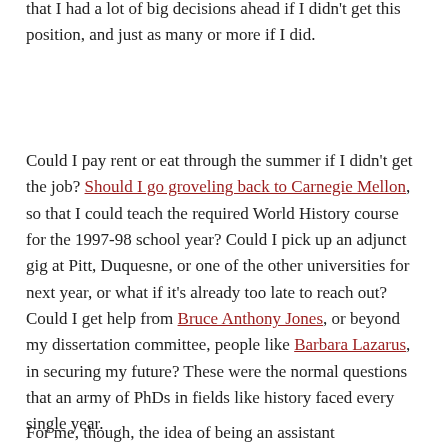that I had a lot of big decisions ahead if I didn't get this position, and just as many or more if I did.
Could I pay rent or eat through the summer if I didn't get the job? Should I go groveling back to Carnegie Mellon, so that I could teach the required World History course for the 1997-98 school year? Could I pick up an adjunct gig at Pitt, Duquesne, or one of the other universities for next year, or what if it's already too late to reach out? Could I get help from Bruce Anthony Jones, or beyond my dissertation committee, people like Barbara Lazarus, in securing my future? These were the normal questions that an army of PhDs in fields like history faced every single year.
For me, though, the idea of being an assistant